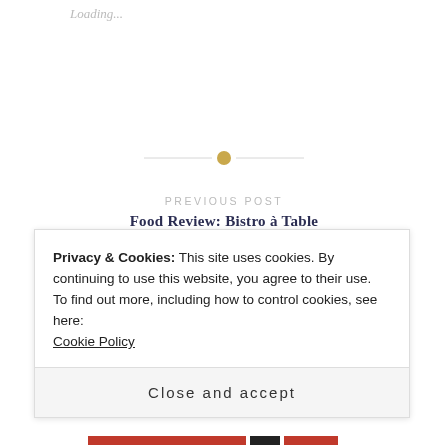Loading...
[Figure (other): Decorative divider: horizontal line with a small gold circle in the center]
PREVIOUS POST
Food Review: Bistro à Table
Privacy & Cookies: This site uses cookies. By continuing to use this website, you agree to their use.
To find out more, including how to control cookies, see here:
Cookie Policy
Close and accept
[Figure (other): Bottom progress/navigation bar with red, black, and red segments]